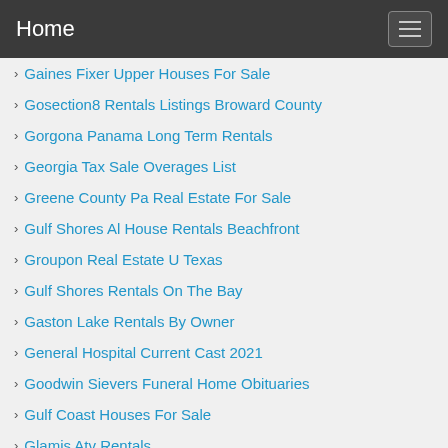Home
Gaines Fixer Upper Houses For Sale
Gosection8 Rentals Listings Broward County
Gorgona Panama Long Term Rentals
Georgia Tax Sale Overages List
Greene County Pa Real Estate For Sale
Gulf Shores Al House Rentals Beachfront
Groupon Real Estate U Texas
Gulf Shores Rentals On The Bay
Gaston Lake Rentals By Owner
General Hospital Current Cast 2021
Goodwin Sievers Funeral Home Obituaries
Gulf Coast Houses For Sale
Glamis Atv Rentals